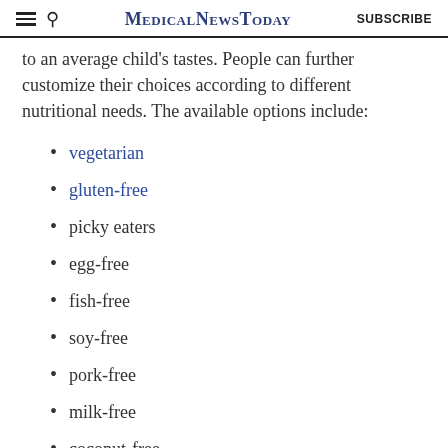MedicalNewsToday  SUBSCRIBE
to an average child's tastes. People can further customize their choices according to different nutritional needs. The available options include:
vegetarian
gluten-free
picky eaters
egg-free
fish-free
soy-free
pork-free
milk-free
coconut-free